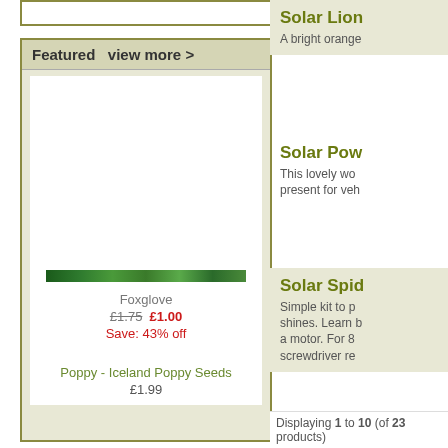Featured  view more >
Foxglove
£1.75  £1.00
Save: 43% off
Poppy - Iceland Poppy Seeds
£1.99
Solar Lion
A bright orange
Solar Pow
This lovely wo... present for veh
Solar Spid
Simple kit to p... shines. Learn b... a motor. For 8... screwdriver re
Sunny Bea
Pack conta
Beads turn when exposed
A great way
Includes ide
Beads can
Not suitable
Displaying 1 to 10 (of 23 products)